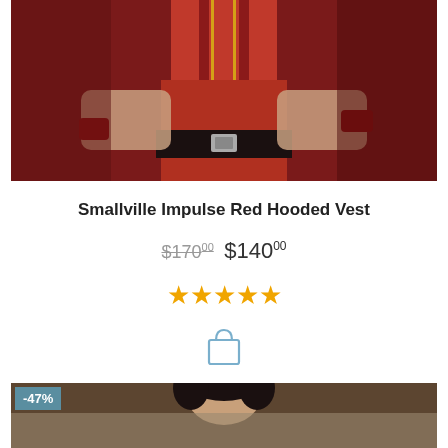[Figure (photo): Product photo of Smallville Impulse Red Hooded Vest costume, showing torso with red vest, suspenders, belt, and red wristband]
Smallville Impulse Red Hooded Vest
$170.00  $140.00
[Figure (other): Five gold star rating icons]
[Figure (other): Shopping bag / cart icon]
[Figure (photo): Second product photo showing a person with dark curly hair, partially visible, with -47% discount badge]